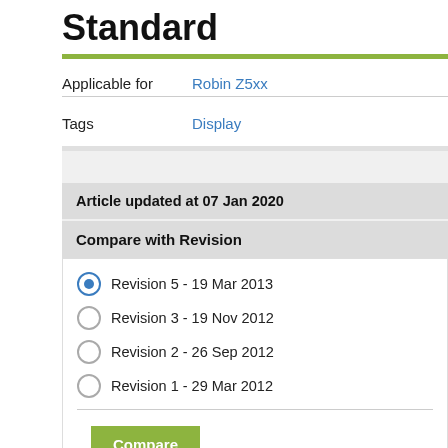Standard
Applicable for  Robin Z5xx
Tags  Display
Article updated at 07 Jan 2020
Compare with Revision
Revision 5 - 19 Mar 2013
Revision 3 - 19 Nov 2012
Revision 2 - 26 Sep 2012
Revision 1 - 29 Mar 2012
Compare